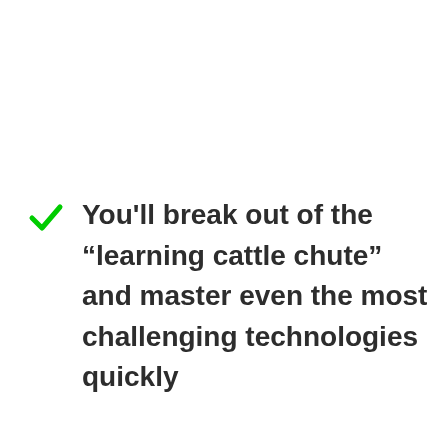You'll break out of the “learning cattle chute” and master even the most challenging technologies quickly